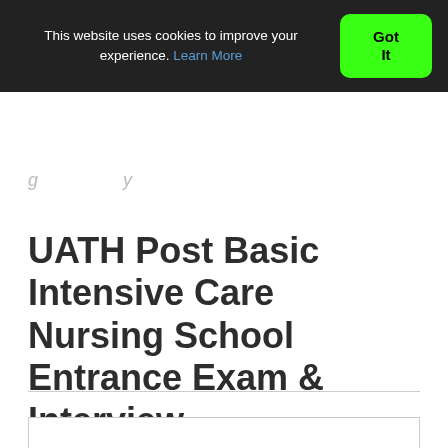This website uses cookies to improve your experience. Learn More
Got It
UATH Post Basic Intensive Care Nursing School Entrance Exam & Interview.
Date: